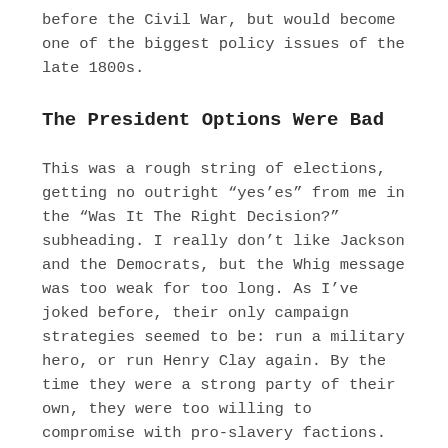before the Civil War, but would become one of the biggest policy issues of the late 1800s.
The President Options Were Bad
This was a rough string of elections, getting no outright “yes’es” from me in the “Was It The Right Decision?” subheading. I really don’t like Jackson and the Democrats, but the Whig message was too weak for too long. As I’ve joked before, their only campaign strategies seemed to be: run a military hero, or run Henry Clay again. By the time they were a strong party of their own, they were too willing to compromise with pro-slavery factions. They saw the consequences of that when both of their presidents died and left Southern sympathizers in the White House